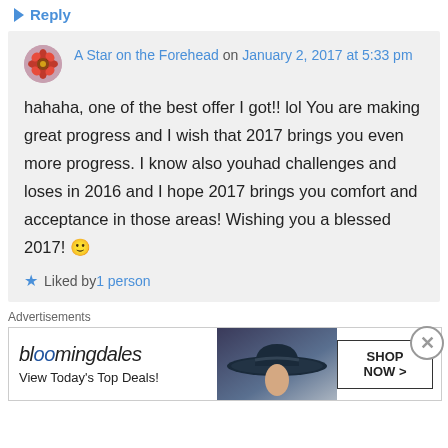Reply
A Star on the Forehead on January 2, 2017 at 5:33 pm
hahaha, one of the best offer I got!! lol You are making great progress and I wish that 2017 brings you even more progress. I know also youhad challenges and loses in 2016 and I hope 2017 brings you comfort and acceptance in those areas! Wishing you a blessed 2017! 🙂
Liked by 1 person
Advertisements
[Figure (other): Bloomingdale's advertisement banner with text 'View Today's Top Deals!' and 'SHOP NOW >' button, featuring a woman in a wide-brim hat]